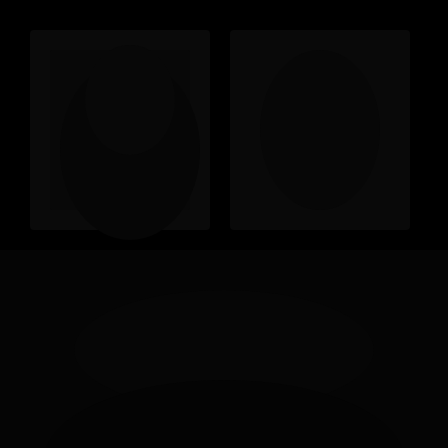[Figure (photo): A nearly entirely black image with very faint, barely visible dark tonal variations suggesting a dark photograph or illustration with minimal contrast. The overall appearance is of a black page.]